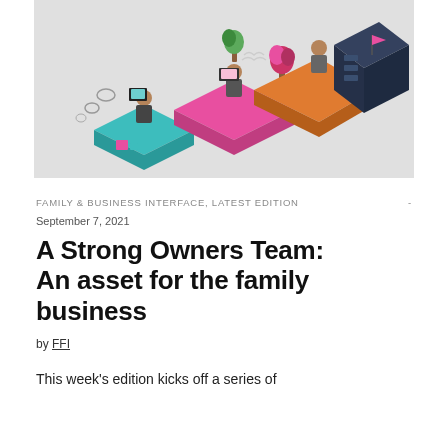[Figure (illustration): Isometric office illustration showing multiple people working at various desks with computers, plants, and office furniture in colorful shades of teal, pink, orange, and dark blue against a light gray background.]
FAMILY & BUSINESS INTERFACE, LATEST EDITION -
September 7, 2021
A Strong Owners Team: An asset for the family business
by FFI
This week's edition kicks off a series of